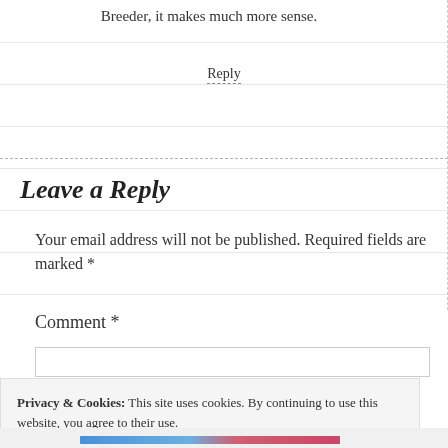Breeder, it makes much more sense.
Reply
Leave a Reply
Your email address will not be published. Required fields are marked *
Comment *
Privacy & Cookies: This site uses cookies. By continuing to use this website, you agree to their use.
To find out more, including how to control cookies, see here: Cookie Policy
Close and accept